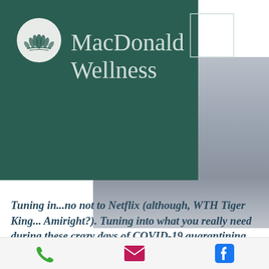[Figure (logo): MacDonald Wellness logo: lotus flower icon in a circle on dark teal background with brand name 'MacDonald Wellness' in light grey serif font and a decorative square outline]
[Figure (photo): Blurred grey/blue background photo, mostly obscured]
Tuning in...no not to Netflix (although, WTH Tiger King... Amiright?). Tuning into what you really need during these crazy days of COVID-19 quarantining.
[Figure (infographic): Contact bar with phone, email, and Facebook icons]